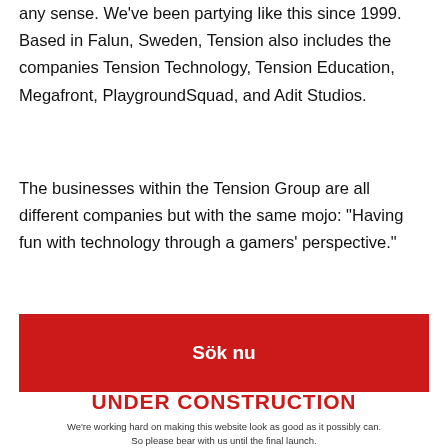any sense. We've been partying like this since 1999. Based in Falun, Sweden, Tension also includes the companies Tension Technology, Tension Education, Megafront, PlaygroundSquad, and Adit Studios.
The businesses within the Tension Group are all different companies but with the same mojo: “Having fun with technology through a gamers’ perspective.”
Sök nu
UNDER CONSTRUCTION
We’re working hard on making this website look as good as it possibly can. So please bear with us until the final launch.